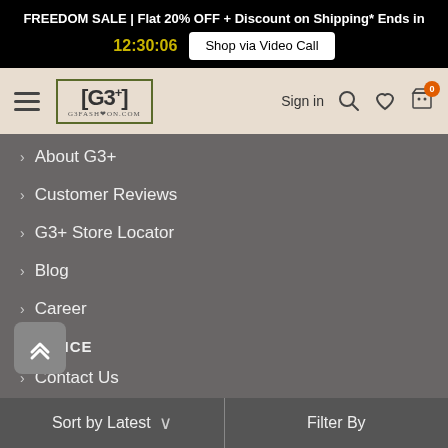FREEDOM SALE | Flat 20% OFF + Discount on Shipping* Ends in 12:30:06  Shop via Video Call
[Figure (screenshot): G3+ fashion website navigation bar with hamburger menu, G3+ logo, Sign in, search, wishlist, and cart icons]
> About G3+
> Customer Reviews
> G3+ Store Locator
> Blog
> Career
SERVICE
> Contact Us
> Complain
> Feedback
> ...count
Sort by Latest  ∨  |  Filter By